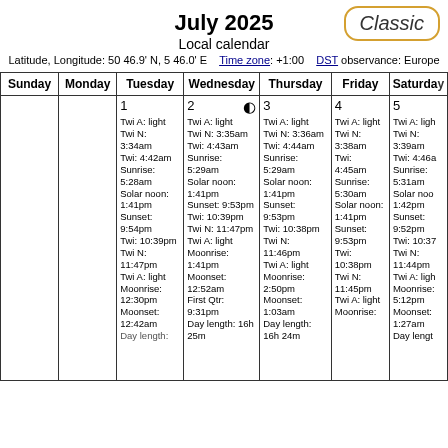July 2025
Local calendar
Latitude, Longitude: 50 46.9' N, 5 46.0' E   Time zone: +1:00   DST observance: Europe
| Sunday | Monday | Tuesday | Wednesday | Thursday | Friday | Saturday |
| --- | --- | --- | --- | --- | --- | --- |
|  |  | 1
Twi A: light
Twi N: 3:34am
Twi: 4:42am
Sunrise: 5:28am
Solar noon: 1:41pm
Sunset: 9:54pm
Twi: 10:39pm
Twi N: 11:47pm
Twi A: light
Moonrise: 12:30pm
Moonset: 12:42am | 2 ◐
Twi A: light
Twi N: 3:35am
Twi: 4:43am
Sunrise: 5:29am
Solar noon: 1:41pm
Sunset: 9:53pm
Twi: 10:39pm
Twi N: 11:47pm
Twi A: light
Moonrise: 1:41pm
Moonset: 12:52am
First Qtr: 9:31pm
Day length: 16h 25m | 3
Twi A: light
Twi N: 3:36am
Twi: 4:44am
Sunrise: 5:29am
Solar noon: 1:41pm
Sunset: 9:53pm
Twi: 10:38pm
Twi N: 11:46pm
Twi A: light
Moonrise: 2:50pm
Moonset: 1:03am
Day length: 16h 24m | 4
Twi A: light
Twi N: 3:38am
Twi: 4:45am
Sunrise: 5:30am
Solar noon: 1:41pm
Sunset: 9:53pm
Twi: 10:38pm
Twi N: 11:45pm
Twi A: light
Moonrise: | 5
Twi A: light
Twi N: 3:39am
Twi: 4:46am
Sunrise: 5:31am
Solar noon: 1:42pm
Sunset: 9:52pm
Twi: 10:37pm
Twi N: 11:44pm
Twi A: light
Moonrise: 5:12pm
Moonset: 1:27am
Day length: |